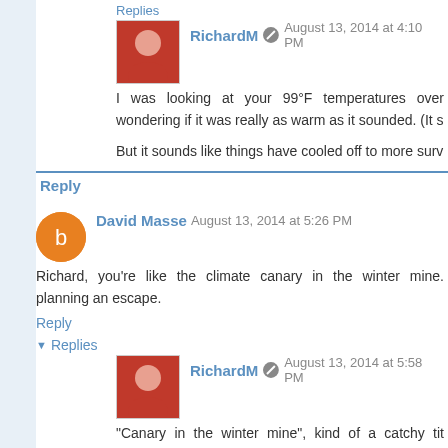Replies
RichardM  August 13, 2014 at 4:10 PM
I was looking at your 99°F temperatures over wondering if it was really as warm as it sounded. (It s
But it sounds like things have cooled off to more surv
Reply
David Masse  August 13, 2014 at 5:26 PM
Richard, you're like the climate canary in the winter mine. planning an escape.
Reply
Replies
RichardM  August 13, 2014 at 5:58 PM
"Canary in the winter mine", kind of a catchy tit anything new, by now, they have usually had a little really sticks so I was a little surprised by the sn